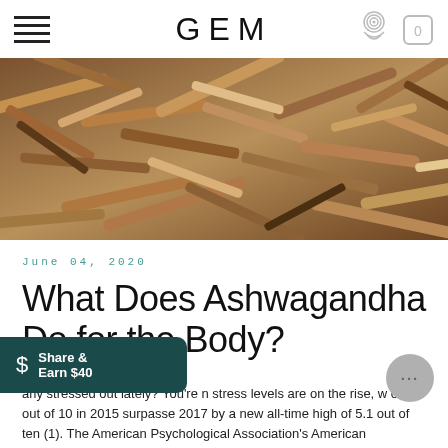GEM
[Figure (photo): Close-up photo of dried ashwagandha root sticks, brown and tan colored, piled together]
June 04, 2020
What Does Ashwagandha Do for the Body?
Share & Earn $40
arly stressed out lately? You're n stress levels are on the rise, w of 4.8 out of 10 in 2015 surpasse 2017 by a new all-time high of 5.1 out of ten (1). The American Psychological Association's American